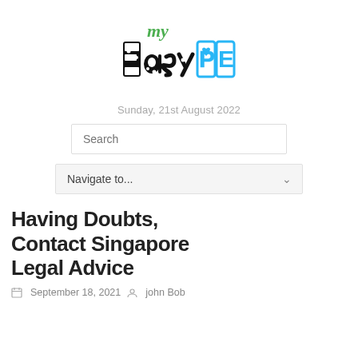[Figure (logo): myEasyPE website logo — 'my' in green script, 'Easy' in black cow-print block letters, 'PE' in blue outlined letters]
Sunday, 21st August 2022
Search
Navigate to...
Having Doubts, Contact Singapore Legal Advice
September 18, 2021   john Bob